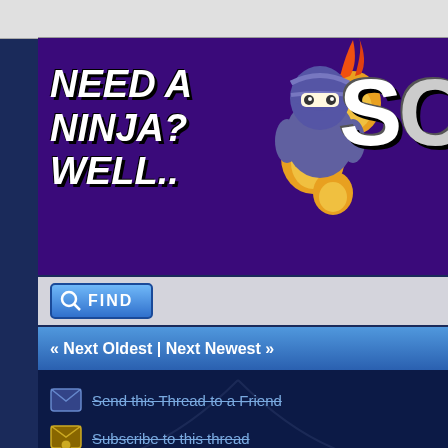[Figure (illustration): Purple banner advertisement reading 'NEED A NINJA? WELL..' with cartoon ninja character, fireballs, and partial 'SC' text on the right]
[Figure (screenshot): Blue Find button with magnifying glass icon]
« Next Oldest | Next Newest »
Send this Thread to a Friend
Subscribe to this thread
User(s) browsing this thread:
Contact Us | Bad Eggs Online | Return to Top | Return to Content | Lite (Archive) Mode